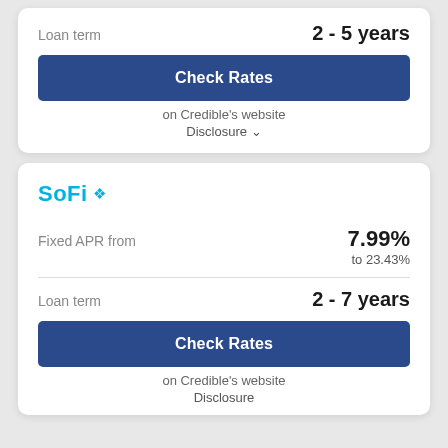Loan term
2 - 5 years
Check Rates
on Credible's website
Disclosure ∨
SoFi
Fixed APR from
7.99%
to 23.43%
Loan term
2 - 7 years
Check Rates
on Credible's website
Disclosure